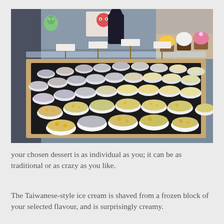[Figure (photo): A display tray filled with many small white plastic cups containing various ice cream or dessert samples in different colors and flavors, arranged on a wooden-framed tray under a clear acrylic cover. Small label signs are visible. In the background, cupcakes with frosting are visible on the right side.]
your chosen dessert is as individual as you; it can be as traditional or as crazy as you like.
The Taiwanese-style ice cream is shaved from a frozen block of your selected flavour, and is surprisingly creamy.